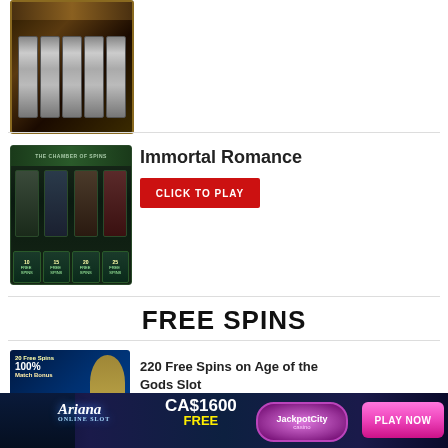[Figure (screenshot): Slot machine game screenshot at top of page]
[Figure (screenshot): Immortal Romance slot game - The Chamber of Spins screenshot showing four characters with 10, 15, 20, 25 free spins options]
Immortal Romance
CLICK TO PLAY
FREE SPINS
[Figure (screenshot): 220 Free Spins on Age of the Gods Slot - promotional banner showing 20 Free Spins and 100% Match Bonus]
220 Free Spins on Age of the Gods Slot
[Figure (illustration): Ariana Online Slot - JackpotCity Casino banner advertisement with CA$1600 FREE offer and PLAY NOW button]